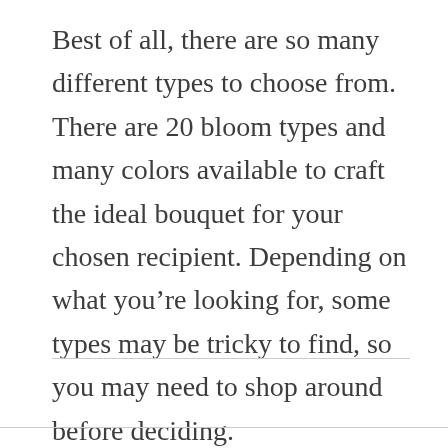Best of all, there are so many different types to choose from. There are 20 bloom types and many colors available to craft the ideal bouquet for your chosen recipient. Depending on what you're looking for, some types may be tricky to find, so you may need to shop around before deciding.